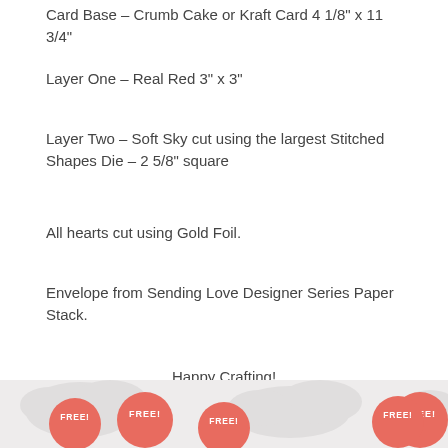Card Base – Crumb Cake or Kraft Card 4 1/8" x 11 3/4"
Layer One – Real Red 3" x 3"
Layer Two – Soft Sky cut using the largest Stitched Shapes Die – 2 5/8" square
All hearts cut using Gold Foil.
Envelope from Sending Love Designer Series Paper Stack.
Happy Crafting!
[Figure (illustration): Handwritten signature 'Mel' with a pink bird illustration standing on stick legs]
[Figure (illustration): Footer banner with light gray cloud shapes and three coral/red circular FREE! badges]